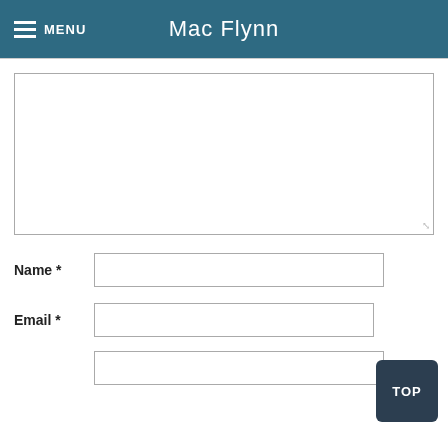MENU  Mac Flynn
[Figure (screenshot): Comment form textarea, empty white box with resize handle]
Name *
Email *
[Figure (other): TOP scroll button, dark navy square with rounded corners]